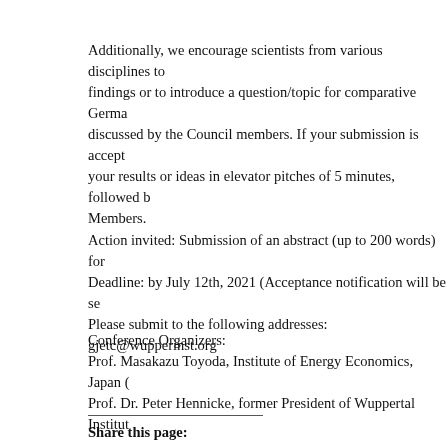Additionally, we encourage scientists from various disciplines to share their findings or to introduce a question/topic for comparative German-Japanese discussion to be discussed by the Council members. If your submission is accepted, you will present your results or ideas in elevator pitches of 5 minutes, followed by Q&A with the Council Members.
Action invited: Submission of an abstract (up to 200 words) for your contribution. Deadline: by July 12th, 2021 (Acceptance notification will be sent by July 19th). Please submit to the following addresses: gjetc@wupperinst.org
Conference Organizers:
Prof. Masakazu Toyoda, Institute of Energy Economics, Japan (
Prof. Dr. Peter Hennicke, former President of Wuppertal Institut
Share this page: